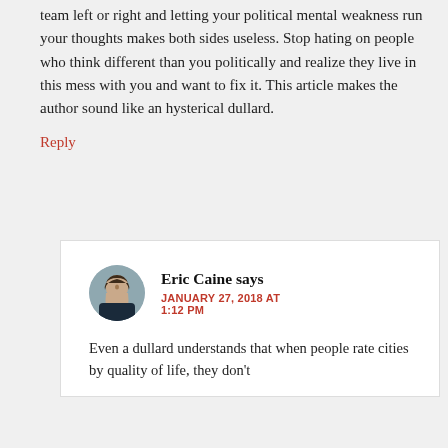team left or right and letting your political mental weakness run your thoughts makes both sides useless. Stop hating on people who think different than you politically and realize they live in this mess with you and want to fix it. This article makes the author sound like an hysterical dullard.
Reply
Eric Caine says
JANUARY 27, 2018 AT 1:12 PM
Even a dullard understands that when people rate cities by quality of life, they don't